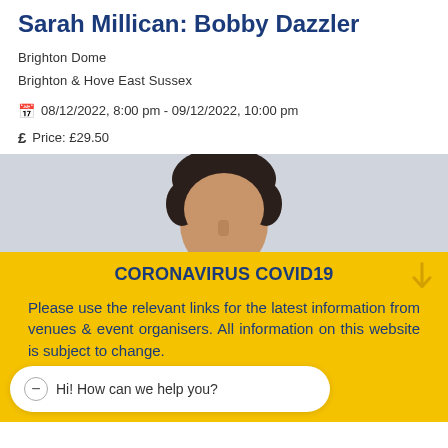Sarah Millican: Bobby Dazzler
Brighton Dome
Brighton & Hove East Sussex
08/12/2022, 8:00 pm  -  09/12/2022, 10:00 pm
Price: £29.50
[Figure (photo): Partial photo of a person's head with dark hair against a grey background]
CORONAVIRUS COVID19
Please use the relevant links for the latest information from venues & event organisers. All information on this website is subject to change.
Hi! How can we help you?